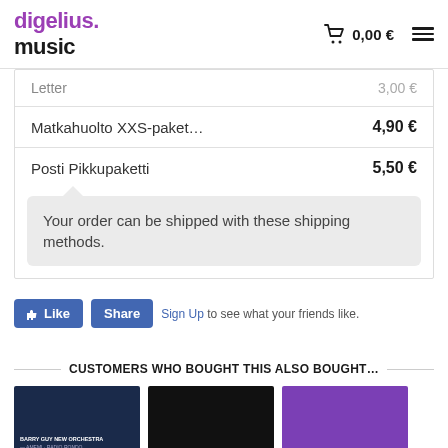digelius music — 0,00 €
| Service | Price |
| --- | --- |
| Letter | 3,00 € |
| Matkahuolto XXS-paket… | 4,90 € |
| Posti Pikkupaketti | 5,50 € |
Your order can be shipped with these shipping methods.
Sign Up to see what your friends like.
CUSTOMERS WHO BOUGHT THIS ALSO BOUGHT…
[Figure (photo): Three product thumbnail images: Barry Guy New Orchestra - Amemi Radio Rondo (blue), unknown dark album, unknown purple album]